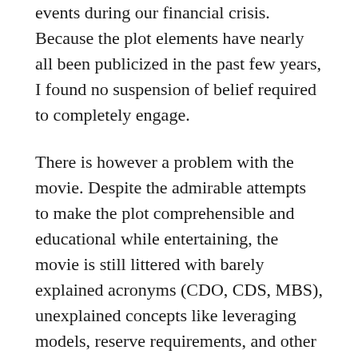events during our financial crisis. Because the plot elements have nearly all been publicized in the past few years, I found no suspension of belief required to completely engage.
There is however a problem with the movie. Despite the admirable attempts to make the plot comprehensible and educational while entertaining, the movie is still littered with barely explained acronyms (CDO, CDS, MBS), unexplained concepts like leveraging models, reserve requirements, and other financial jargon. We paused the movie several times as I was asked to explain. It’s a fun movie, but I’d first recommend that people first watch Inside Job and Wall Street.